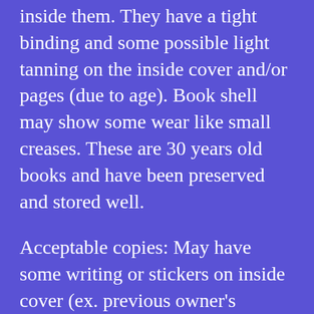inside them. They have a tight binding and some possible light tanning on the inside cover and/or pages (due to age). Book shell may show some wear like small creases. These are 30 years old books and have been preserved and stored well.
Acceptable copies: May have some writing or stickers on inside cover (ex. previous owner's name). Cover may shows more wear than good copies or have some light tears. Tight binding.
Fair copies: This is a readable copy. Shell is worn and book has almost no shelf life left. May have some writing or stickers. All pages are intact. Tight binding.
Rough (worn) Copies: Not a collectible copy. Loose